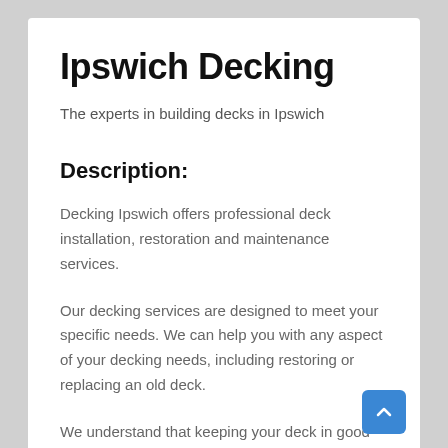Ipswich Decking
The experts in building decks in Ipswich
Description:
Decking Ipswich offers professional deck installation, restoration and maintenance services.
Our decking services are designed to meet your specific needs. We can help you with any aspect of your decking needs, including restoring or replacing an old deck.
We understand that keeping your deck in good condition is important for its lifespan. We offer